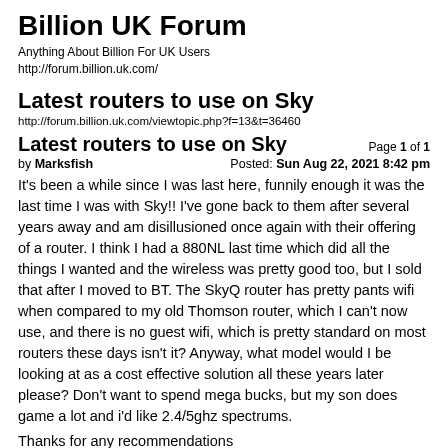Billion UK Forum
Anything About Billion For UK Users
http://forum.billion.uk.com/
Latest routers to use on Sky
http://forum.billion.uk.com/viewtopic.php?f=13&t=36460
Latest routers to use on Sky
Page 1 of 1
by Marksfish
Posted: Sun Aug 22, 2021 8:42 pm
It's been a while since I was last here, funnily enough it was the last time I was with Sky!! I've gone back to them after several years away and am disillusioned once again with their offering of a router. I think I had a 880NL last time which did all the things I wanted and the wireless was pretty good too, but I sold that after I moved to BT. The SkyQ router has pretty pants wifi when compared to my old Thomson router, which I can't now use, and there is no guest wifi, which is pretty standard on most routers these days isn't it? Anyway, what model would I be looking at as a cost effective solution all these years later please? Don't want to spend mega bucks, but my son does game a lot and i'd like 2.4/5ghz spectrums.
Thanks for any recommendations